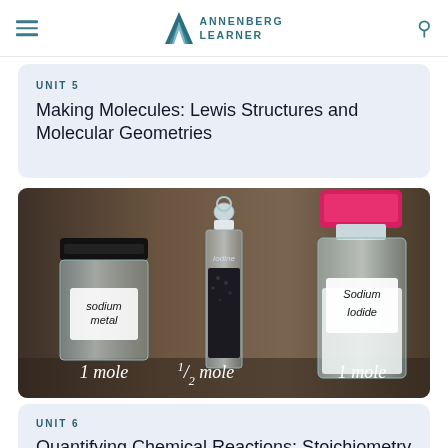ANNENBERG LEARNER
UNIT 5
Making Molecules: Lewis Structures and Molecular Geometries
[Figure (photo): Three laboratory containers labeled with their contents and mole quantities: a jar labeled 'sodium metal' with '1 mole', a tall glass container labeled 'iodine' with '½ mole', and a bottle labeled 'Sodium Iodide' with '1 mole'.]
UNIT 6
Quantifying Chemical Reactions: Stoichiometry and Moles